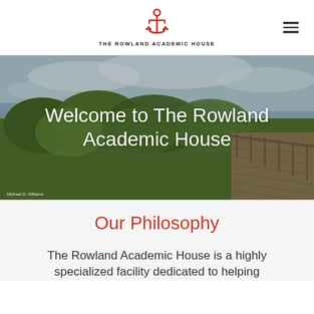[Figure (logo): Red anchor icon logo for The Rowland Academic House with text below reading THE ROWLAND ACADEMIC HOUSE]
[Figure (photo): Outdoor landscape photo showing a wooden boardwalk/pier extending to the right through green shrubs and trees with a cloudy sky above water in the background. White overlay text reads 'Welcome to The Rowland Academic House'. Photo credit: Michael D. Williams.]
Our Philosophy
The Rowland Academic House is a highly specialized facility dedicated to helping